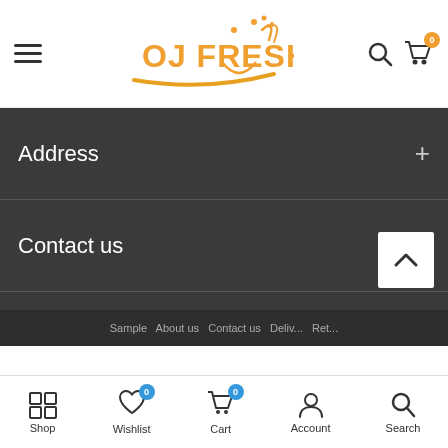[Figure (logo): OJ Fresh logo with orange fruit and splash design]
Address
Contact us
Delivery information
Shop  Wishlist  Cart  Account  Search